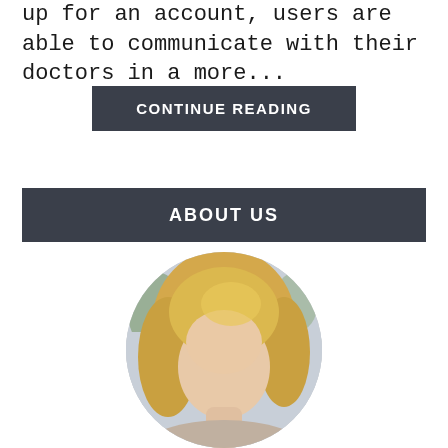up for an account, users are able to communicate with their doctors in a more...
CONTINUE READING
ABOUT US
[Figure (photo): Circular cropped portrait photo of a blonde woman outdoors with light blue/grey background]